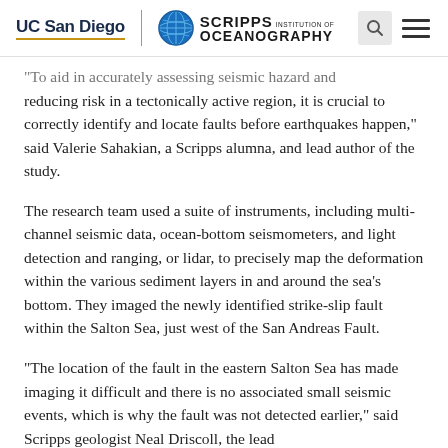UC San Diego | Scripps Institution of Oceanography
To aid in accurately assessing seismic hazard and reducing risk in a tectonically active region, it is crucial to correctly identify and locate faults before earthquakes happen," said Valerie Sahakian, a Scripps alumna, and lead author of the study.
The research team used a suite of instruments, including multi-channel seismic data, ocean-bottom seismometers, and light detection and ranging, or lidar, to precisely map the deformation within the various sediment layers in and around the sea's bottom. They imaged the newly identified strike-slip fault within the Salton Sea, just west of the San Andreas Fault.
“The location of the fault in the eastern Salton Sea has made imaging it difficult and there is no associated small seismic events, which is why the fault was not detected earlier,” said Scripps geologist Neal Driscoll, the lead...